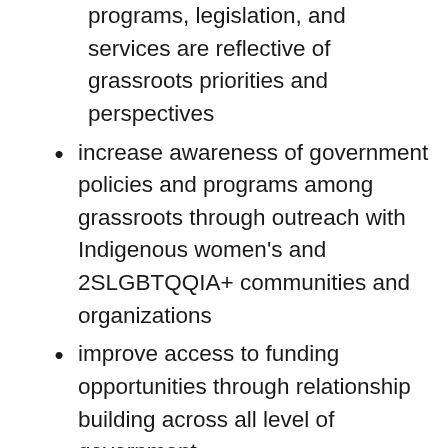programs, legislation, and services are reflective of grassroots priorities and perspectives
increase awareness of government policies and programs among grassroots through outreach with Indigenous women's and 2SLGBTQQIA+ communities and organizations
improve access to funding opportunities through relationship building across all level of government
Budget 2021 granted funding to support Indigenous women's and 2SLGBTQQIA+